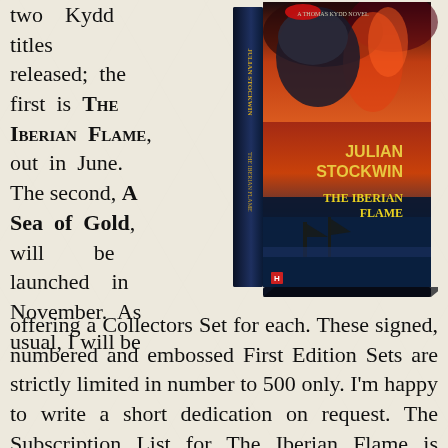two Kydd titles released; the first is The Iberian Flame, out in June. The second, A Sea of Gold, will be launched in November. As usual, I will be offering a Collectors Set for each. These signed, numbered and embossed First Edition Sets are strictly limited in number to 500 only. I'm happy to write a short dedication on request. The Subscription List for The Iberian Flame is filling rapidly so if you're interested
[Figure (photo): Book cover of 'The Iberian Flame' by Julian Stockwin, shown as a hardcover book with dramatic naval battle imagery including ships, fire, and stormy skies. The book is displayed in a three-dimensional angle showing front cover and spine.]